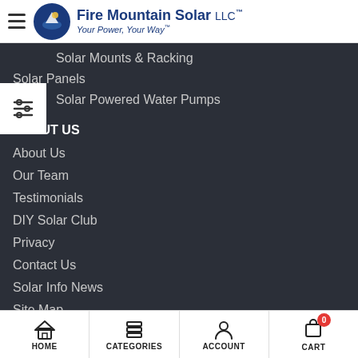Fire Mountain Solar LLC™ — Your Power, Your Way™
Solar Mounts & Racking
Solar Panels
Solar Powered Water Pumps
ABOUT US
About Us
Our Team
Testimonials
DIY Solar Club
Privacy
Contact Us
Solar Info News
Site Map
Policies
HOME  CATEGORIES  ACCOUNT  CART  0